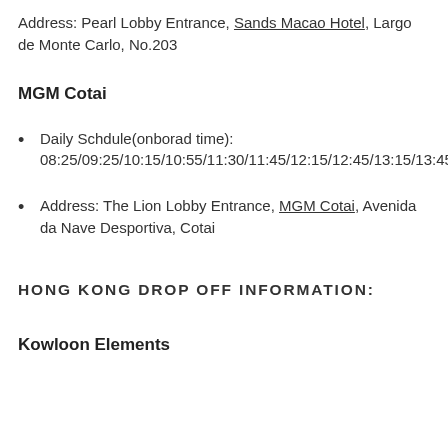Address: Pearl Lobby Entrance, Sands Macao Hotel, Largo de Monte Carlo, No.203
MGM Cotai
Daily Schdule(onborad time): 08:25/09:25/10:15/10:55/11:30/11:45/12:15/12:45/13:15/13:45/14:15/15:15/16:15/17:45/18:30/19:15/19:4
Address: The Lion Lobby Entrance, MGM Cotai, Avenida da Nave Desportiva, Cotai
HONG KONG DROP OFF INFORMATION:
Kowloon Elements